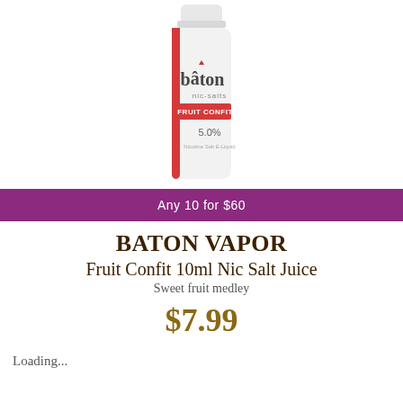[Figure (photo): White cylindrical bottle of Baton nic-salts Fruit Confit 5.0% Nicotine Salt E-Liquid with red accent stripe on left side]
Any 10 for $60
BATON VAPOR
Fruit Confit 10ml Nic Salt Juice
Sweet fruit medley
$7.99
Loading...